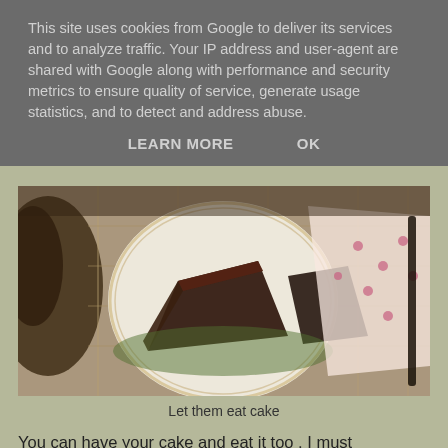This site uses cookies from Google to deliver its services and to analyze traffic. Your IP address and user-agent are shared with Google along with performance and security metrics to ensure quality of service, generate usage statistics, and to detect and address abuse.
LEARN MORE    OK
[Figure (photo): Overhead photo of a picnic scene with a decorative plate holding chocolate cake slices, a polka-dot napkin and utensils, and a wicker basket visible in background.]
Let them eat cake
You can have your cake and eat it too , I must remember to take a flask of tea with me next time. Though a flask of tea doesn't quite taste the same as freshly made , perhaps I'll drag the butler with me next time to make me a cup of tea in a fine bone china cup.